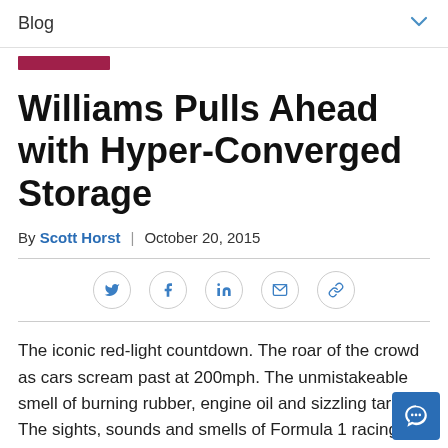Blog
[Figure (other): Red rectangular bar/tag element]
Williams Pulls Ahead with Hyper-Converged Storage
By Scott Horst  |  October 20, 2015
[Figure (infographic): Social sharing icons: Twitter, Facebook, LinkedIn, Email, Link]
The iconic red-light countdown. The roar of the crowd as cars scream past at 200mph. The unmistakeable smell of burning rubber, engine oil and sizzling tarmac. The sights, sounds and smells of Formula 1 racing make it unique, drawing the biggest crowds in motorsports and creati some unforgettable moments of drama. What these